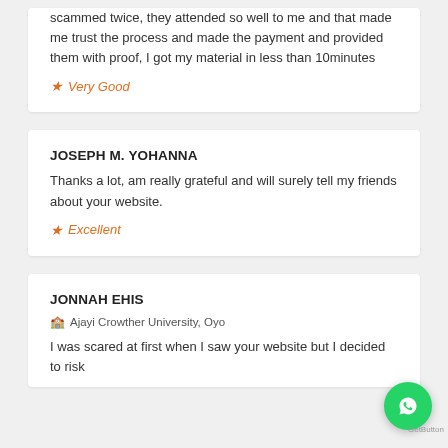scammed twice, they attended so well to me and that made me trust the process and made the payment and provided them with proof, I got my material in less than 10minutes
★ Very Good
JOSEPH M. YOHANNA
Thanks a lot, am really grateful and will surely tell my friends about your website.
★ Excellent
JONNAH EHIS
🏫 Ajayi Crowther University, Oyo
I was scared at first when I saw your website but I decided to risk